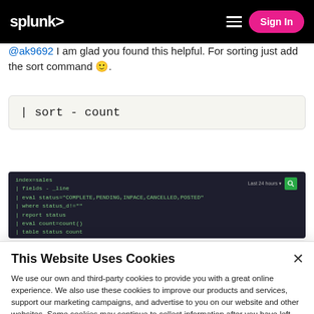splunk> | Sign In
@ak9692 I am glad you found this helpful. For sorting just add the sort command 🙂.
[Figure (screenshot): Dark-themed Splunk search interface showing a multi-line SPL query with fields like index=sales, fields=_line, eval, where, report status, eval, table status count, sort -count. A green search button and 'Last 24 hours' dropdown are visible on the right.]
This Website Uses Cookies
We use our own and third-party cookies to provide you with a great online experience. We also use these cookies to improve our products and services, support our marketing campaigns, and advertise to you on our website and other websites. Some cookies may continue to collect information after you have left our website. Learn more here ›
Accept Cookies
Cookies Settings ›